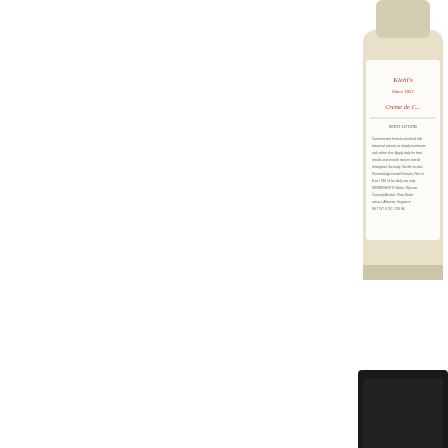[Figure (photo): Kiehl's body lotion bottle, cream/beige colored with label, partially cropped on right edge of page, top half]
[Figure (photo): Chanel product bottle with black cap, beige/nude bottle body with text, partially cropped on right edge of page, bottom half]
Happy New Year! As... are items that I cons... cosmetics, here are...
Body Lotion: Kiehl's...
Face Cleanser: Fre...